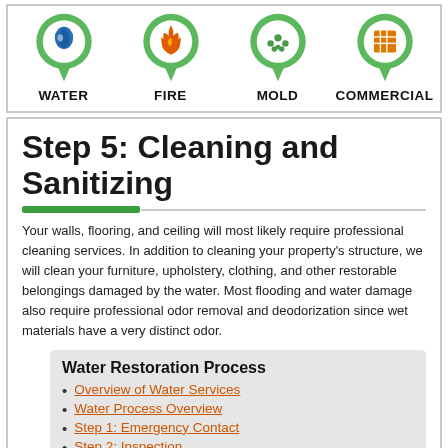[Figure (infographic): Four service category icons with green map pin shapes: WATER (blue water drop), FIRE (red flame), MOLD (green mold), COMMERCIAL (orange building grid), each with bold label below]
Step 5: Cleaning and Sanitizing
Your walls, flooring, and ceiling will most likely require professional cleaning services. In addition to cleaning your property's structure, we will clean your furniture, upholstery, clothing, and other restorable belongings damaged by the water. Most flooding and water damage also require professional odor removal and deodorization since wet materials have a very distinct odor.
Water Restoration Process
Overview of Water Services
Water Process Overview
Step 1: Emergency Contact
Step 2: Inspection